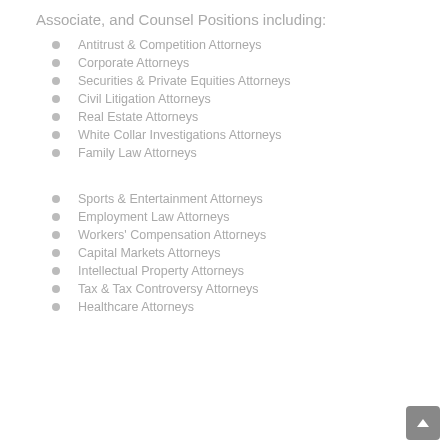Associate, and Counsel Positions including:
Antitrust & Competition Attorneys
Corporate Attorneys
Securities & Private Equities Attorneys
Civil Litigation Attorneys
Real Estate Attorneys
White Collar Investigations Attorneys
Family Law Attorneys
Sports & Entertainment Attorneys
Employment Law Attorneys
Workers' Compensation Attorneys
Capital Markets Attorneys
Intellectual Property Attorneys
Tax & Tax Controversy Attorneys
Healthcare Attorneys